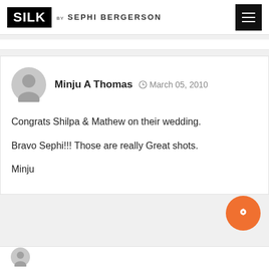SILK by SEPHI BERGERSON
Minju A Thomas  March 05, 2010

Congrats Shilpa & Mathew on their wedding.

Bravo Sephi!!! Those are really Great shots.

Minju